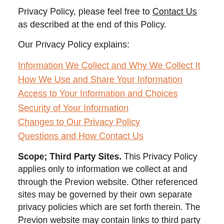Privacy Policy, please feel free to Contact Us as described at the end of this Policy.
Our Privacy Policy explains:
Information We Collect and Why We Collect It
How We Use and Share Your Information
Access to Your Information and Choices
Security of Your Information
Changes to Our Privacy Policy
Questions and How Contact Us
Scope; Third Party Sites. This Privacy Policy applies only to information we collect at and through the Previon website. Other referenced sites may be governed by their own separate privacy policies which are set forth therein. The Previon website may contain links to third party sites that are not owned or controlled by Previon.